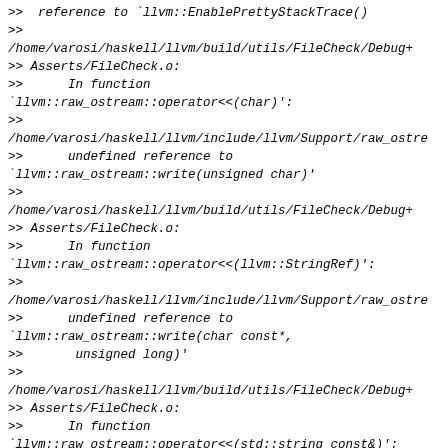>> reference to `llvm::EnablePrettyStackTrace()
>>
/home/varosi/haskell/llvm/build/utils/FileCheck/Debug+
>> Asserts/FileCheck.o:
>>      In function
`llvm::raw_ostream::operator<<(char)':
>>
/home/varosi/haskell/llvm/include/llvm/Support/raw_ostre
>>      undefined reference to
`llvm::raw_ostream::write(unsigned char)'
>>
/home/varosi/haskell/llvm/build/utils/FileCheck/Debug+
>> Asserts/FileCheck.o:
>>      In function
`llvm::raw_ostream::operator<<(llvm::StringRef)':
>>
/home/varosi/haskell/llvm/include/llvm/Support/raw_ostre
>>      undefined reference to
`llvm::raw_ostream::write(char const*,
>>       unsigned long)'
>>
/home/varosi/haskell/llvm/build/utils/FileCheck/Debug+
>> Asserts/FileCheck.o:
>>      In function
`llvm::raw_ostream::operator<<(std::string const&)':
>>
/home/varosi/haskell/llvm/include/llvm/Support/raw_ostre
>>      undefined reference to
`llvm::raw_ostream::write(char const*,
>>       unsigned long)'